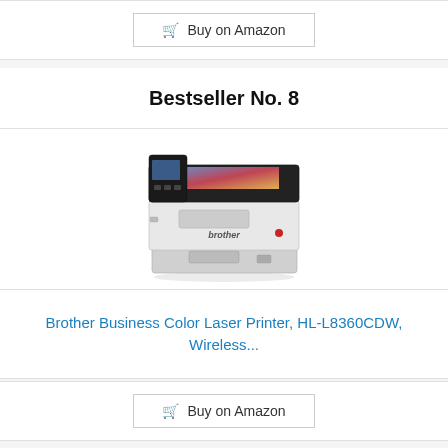Buy on Amazon
Bestseller No. 8
[Figure (photo): Brother Business Color Laser Printer HL-L8360CDW product photo, white printer with black top panel and control display, paper input tray visible]
Brother Business Color Laser Printer, HL-L8360CDW, Wireless...
Buy on Amazon